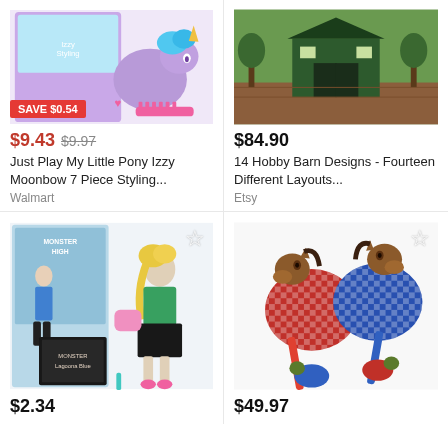[Figure (photo): My Little Pony Izzy Moonbow styling toy product image with pink comb and accessories, purple pony on blue packaging]
[Figure (photo): Hobby Barn Designs photo showing a barn structure surrounded by trees and mulch]
SAVE $0.54
$9.43  $9.97
Just Play My Little Pony Izzy Moonbow 7 Piece Styling...
Walmart
$84.90
14 Hobby Barn Designs - Fourteen Different Layouts...
Etsy
[Figure (photo): Monster High Lagoona Blue doll with box and accessories, doll wearing green and black outfit]
[Figure (photo): Two colorful hobby horse bouncy toys with red and blue checkered pattern bodies]
$2.34
$49.97